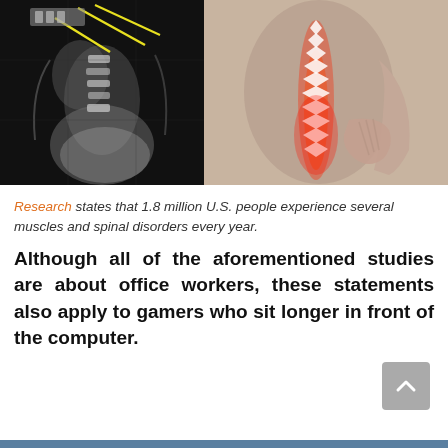[Figure (photo): Two side-by-side medical images: left is an X-ray of the spine/back with yellow annotation lines; right is a photo of a person's back with a highlighted red glowing spine indicating pain.]
Research states that 1.8 million U.S. people experience several muscles and spinal disorders every year.
Although all of the aforementioned studies are about office workers, these statements also apply to gamers who sit longer in front of the computer.